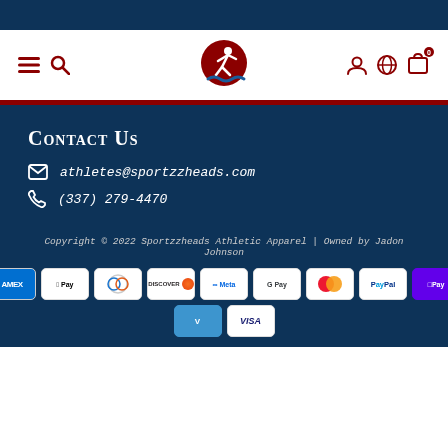[Figure (screenshot): Website navigation bar with hamburger menu, search icon, Sportzzheads logo (running athlete), user account icon, globe icon, and shopping bag icon with 0 badge]
Contact Us
athletes@sportzzheads.com
(337) 279-4470
Copyright © 2022 Sportzzheads Athletic Apparel | Owned by Jadon Johnson
[Figure (other): Payment method badges: AMEX, Apple Pay, Diners Club, Discover, Meta Pay, Google Pay, Mastercard, PayPal, Shop Pay, Venmo, Visa]